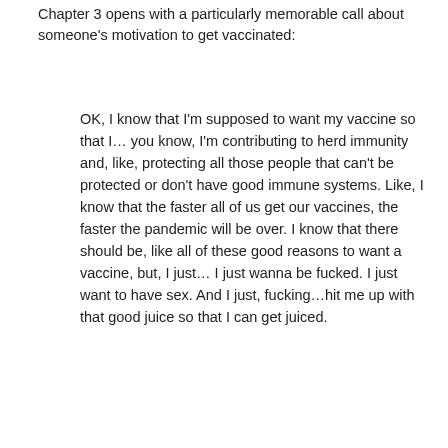Chapter 3 opens with a particularly memorable call about someone's motivation to get vaccinated:
OK, I know that I'm supposed to want my vaccine so that I… you know, I'm contributing to herd immunity and, like, protecting all those people that can't be protected or don't have good immune systems. Like, I know that the faster all of us get our vaccines, the faster the pandemic will be over. I know that there should be, like all of these good reasons to want a vaccine, but, I just… I just wanna be fucked. I just want to have sex. And I just, fucking…hit me up with that good juice so that I can get juiced.